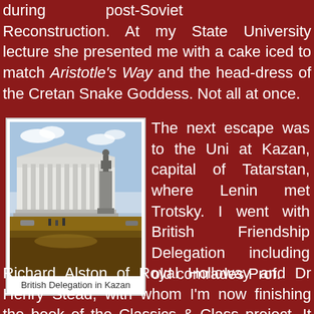during post-Soviet Reconstruction. At my State University lecture she presented me with a cake iced to match Aristotle's Way and the head-dress of the Cretan Snake Goddess. Not all at once.
[Figure (photo): Photograph of a large neoclassical building with columns and a statue on a pedestal in front, people and vehicles visible near the building.]
British Delegation in Kazan
The next escape was to the Uni at Kazan, capital of Tatarstan, where Lenin met Trotsky. I went with British Friendship Delegation including old comrades Prof. Richard Alston of Royal Holloway and Dr Henry Stead, with whom I'm now finishing the book of the Classics & Class project. It was billed as the first